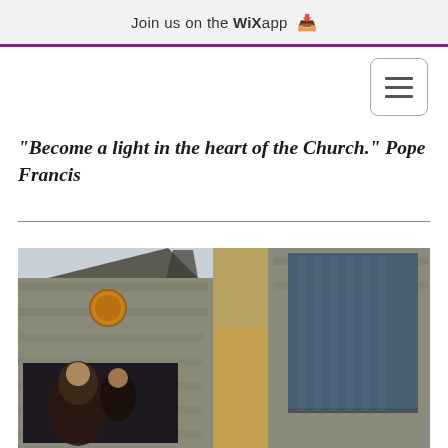Join us on the WiX app ↓
[Figure (screenshot): Hamburger menu icon button with three horizontal lines, rounded rectangle border]
"Become a light in the heart of the Church." Pope Francis
[Figure (photo): Photograph of a Gothic stone church exterior showing the gabled roof, a round rose window with amber surround, tall narrow stained glass windows, and an exterior painting or mosaic depicting religious figures.]